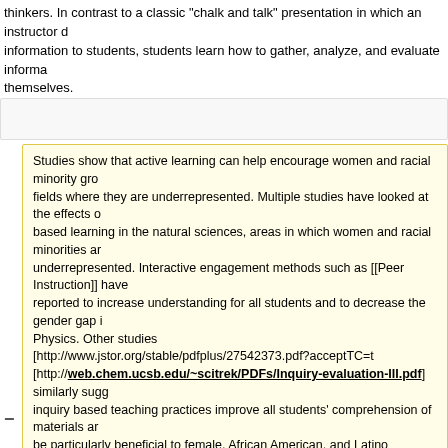thinkers. In contrast to a classic 'chalk and talk' presentation in which an instructor delivers information to students, students learn how to gather, analyze, and evaluate information themselves.
Studies show that active learning can help encourage women and racial minority groups to pursue fields where they are underrepresented. Multiple studies have looked at the effects of inquiry-based learning in the natural sciences, areas in which women and racial minorities are underrepresented. Interactive engagement methods such as [[Peer Instruction]] have been reported to increase understanding for all students and to decrease the gender gap in Physics. Other studies [http://www.jstor.org/stable/pdfplus/27542373.pdf?acceptTC=t] [http://web.chem.ucsb.edu/~scitrek/PDFs/Inquiry-evaluation-III.pdf] similarly suggest that inquiry based teaching practices improve all students' comprehension of materials and may be particularly beneficial to female, African American, and Latino students. {{hidden|more|Students of teachers who emphasized interest in science, further study of science, and experimental methods had higher scores; this benefit was significantly greater for underrepresented minority students. According to an overview of past research about the effectiveness of inquiry based learning [ftp://charmian.sonoma.edu/pub/references/Kinkead.pdf], past projects to increase gender ratios in the sciences have found improved success rates with an inquiry-based teaching compared to traditional lecture formats.}}
__NOTOC__
== How to Incorporate Active Learning ==
Revision as of 10:42, 14 December 2015